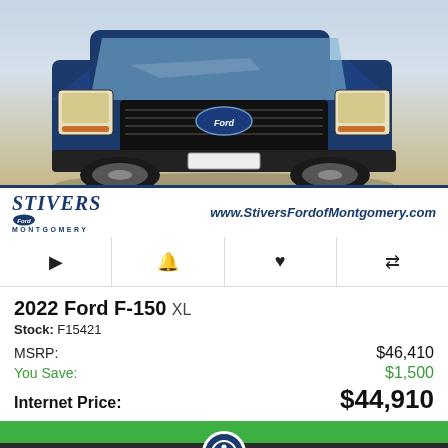[Figure (photo): Front-facing photo of a dark blue 2022 Ford F-150 XL pickup truck in a parking lot. Stivers Ford of Montgomery dealer branding overlay at bottom of image with website www.StiversFordofMontgomery.com]
2022 Ford F-150 XL
Stock: F15421
MSRP: $46,410
You Save: $1,500
Internet Price: $44,910
Alerts  Save  Compare 0  Login